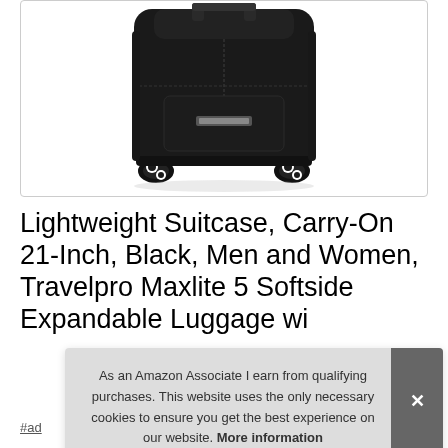[Figure (photo): Black Travelpro Maxlite 5 softside carry-on suitcase with spinner wheels, shown from the front against white background]
Lightweight Suitcase, Carry-On 21-Inch, Black, Men and Women, Travelpro Maxlite 5 Softside Expandable Luggage wi
#ad
As an Amazon Associate I earn from qualifying purchases. This website uses the only necessary cookies to ensure you get the best experience on our website. More information